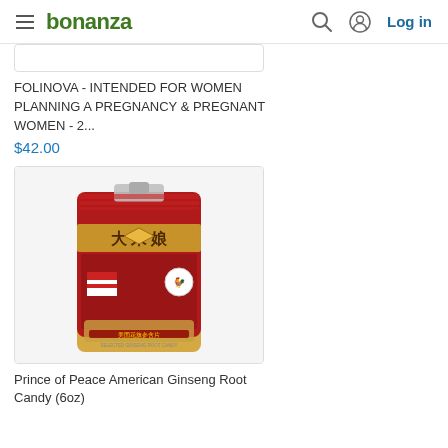bonanza  Log in
[Figure (screenshot): Partial product image card (top portion cut off) for FOLINOVA product]
FOLINOVA - INTENDED FOR WOMEN PLANNING A PREGNANCY & PREGNANT WOMEN - 2...
$42.00
[Figure (photo): Product photo: Prince of Peace American Ginseng Root Candy bag (6oz), red and gold packaging with Chinese characters and an American flag]
Prince of Peace American Ginseng Root Candy (6oz)